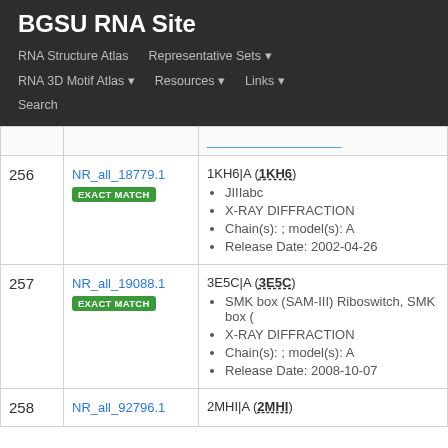BGSU RNA Site
RNA Structure Atlas | Representative Sets ▾ | RNA 3D Motif Atlas ▾ | Resources ▾ | Links ▾ | Search
| # | ID | Details |
| --- | --- | --- |
| 256 | NR_all_18779.1
EXACT MATCH | 1KH6|A (1KH6)
JIIIabc
X-RAY DIFFRACTION
Chain(s): ; model(s): A
Release Date: 2002-04-26 |
| 257 | NR_all_19088.1
EXACT MATCH | 3E5C|A (3E5C)
SMK box (SAM-III) Riboswitch, SMK box (
X-RAY DIFFRACTION
Chain(s): ; model(s): A
Release Date: 2008-10-07 |
| 258 | NR_all_92796.1 | 2MHI|A (2MHI) |